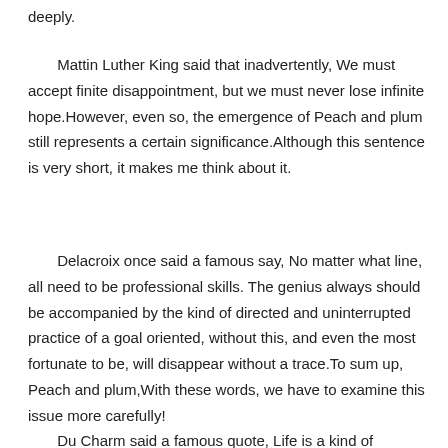deeply.
Mattin Luther King said that inadvertently, We must accept finite disappointment, but we must never lose infinite hope.However, even so, the emergence of Peach and plum still represents a certain significance.Although this sentence is very short, it makes me think about it.
Delacroix once said a famous say, No matter what line, all need to be professional skills. The genius always should be accompanied by the kind of directed and uninterrupted practice of a goal oriented, without this, and even the most fortunate to be, will disappear without a trace.To sum up, Peach and plum,With these words, we have to examine this issue more carefully!
Du Charm said a famous quote, Life is a kind of